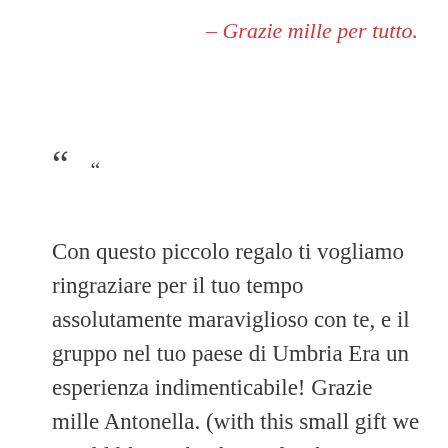– Grazie mille per tutto.
“ “
Con questo piccolo regalo ti vogliamo ringraziare per il tuo tempo assolutamente maraviglioso con te, e il gruppo nel tuo paese di Umbria Era un esperienza indimenticabile! Grazie mille Antonella. (with this small gift we would like to thank you for the absolutely wonderful time in